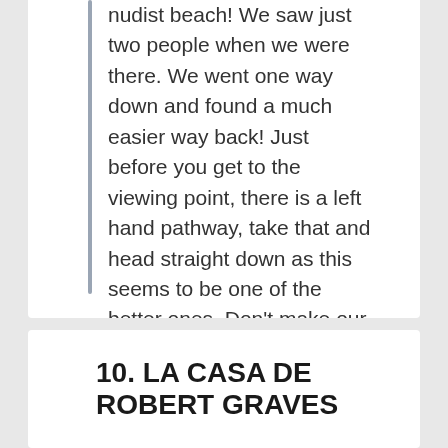nudist beach! We saw just two people when we were there. We went one way down and found a much easier way back! Just before you get to the viewing point, there is a left hand pathway, take that and head straight down as this seems to be one of the better ones. Don't make our mistake and head on down immediately after the viewing point.....it's worth backtracking just a few steps! I will attach a picture which hopefully you'll find useful. I say 'path' (!!)....it's not exactly clear as you pretty much get down the best way you can find but this was definitely an easier direction than our way down!
10. LA CASA DE ROBERT GRAVES